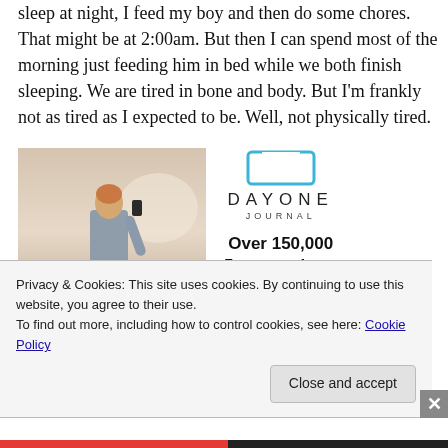sleep at night, I feed my boy and then do some chores. That might be at 2:00am. But then I can spend most of the morning just feeding him in bed while we both finish sleeping. We are tired in bone and body. But I'm frankly not as tired as I expected to be. Well, not physically tired.
[Figure (photo): Person seen from behind, holding up a phone toward a sunset or hazy sky, wearing a white t-shirt. Beside it is a Day One Journal advertisement showing a bracket icon, the DAYONE JOURNAL logo, 'Over 150,000 5-star reviews', and five black stars.]
Privacy & Cookies: This site uses cookies. By continuing to use this website, you agree to their use.
To find out more, including how to control cookies, see here: Cookie Policy
Close and accept